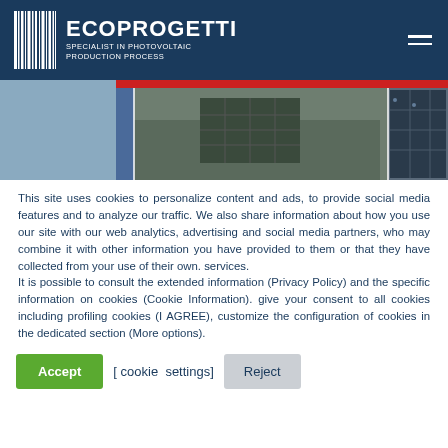ECOPROGETTI — SPECIALIST IN PHOTOVOLTAIC PRODUCTION PROCESS
[Figure (photo): Banner showing photovoltaic factory workers and solar panels]
This site uses cookies to personalize content and ads, to provide social media features and to analyze our traffic. We also share information about how you use our site with our web analytics, advertising and social media partners, who may combine it with other information you have provided to them or that they have collected from your use of their own services.
It is possible to consult the extended information (Privacy Policy) and the specific information on cookies (Cookie Information). give your consent to all cookies including profiling cookies (I AGREE), customize the configuration of cookies in the dedicated section (More options).
Accept  [ cookie settings]  Reject